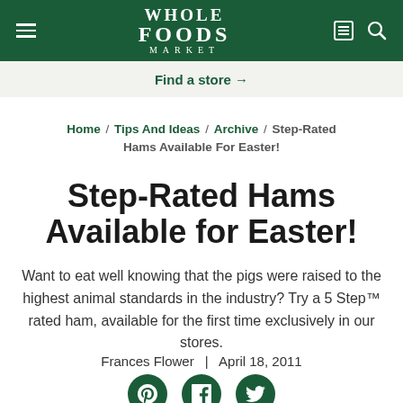Whole Foods Market — Find a store →
Home / Tips And Ideas / Archive / Step-Rated Hams Available For Easter!
Step-Rated Hams Available for Easter!
Want to eat well knowing that the pigs were raised to the highest animal standards in the industry? Try a 5 Step™ rated ham, available for the first time exclusively in our stores.
Frances Flower  |  April 18, 2011
[Figure (other): Social sharing icons for Pinterest, Facebook, and Twitter]